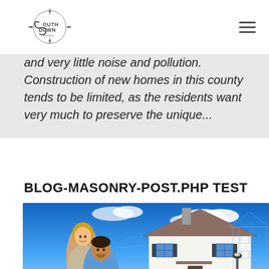Southdown Homes [logo] [navigation hamburger menu]
and very little noise and pollution. Construction of new homes in this county tends to be limited, as the residents want very much to preserve the unique...
BLOG-MASONRY-POST.PHP TEST
[Figure (photo): A family of three (woman, man, child) smiling in front of a partially constructed dream home illustration with blue sky background.]
Privacy - Terms